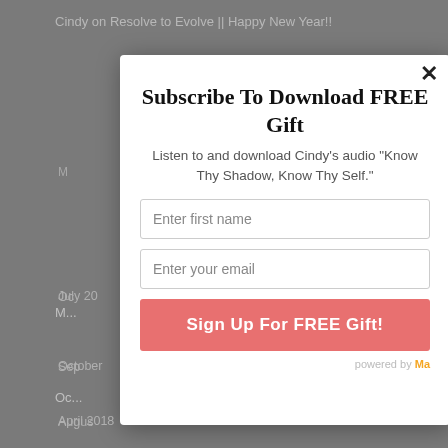Cindy on Resolve to Evolve || Happy New Year!!
M...
Oc...
Sep...
Augus...
July 20...
October...
April 2018
Subscribe To Download FREE Gift
Listen to and download Cindy's audio "Know Thy Shadow, Know Thy Self."
Enter first name
Enter your email
Sign Up For FREE Gift!
powered by Ma...